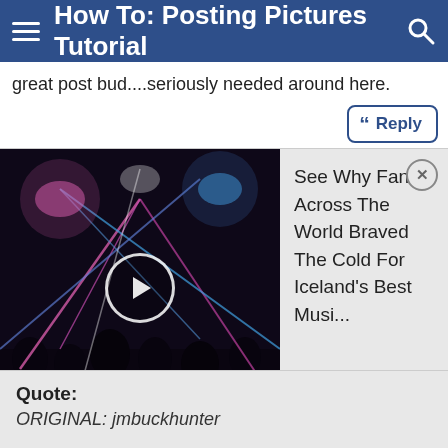How To: Posting Pictures Tutorial
great post bud....seriously needed around here.
[Figure (screenshot): Video thumbnail of a concert with stage lights and crowd, with a play button overlay. Adjacent ad text reads: See Why Fans Across The World Braved The Cold For Iceland's Best Musi...]
Thanks guys, I figured it would at least help some people out, and looks like recurver167 got it now! Good job! Let me know if you think anything should be added.
Quote:
ORIGINAL: jmbuckhunter